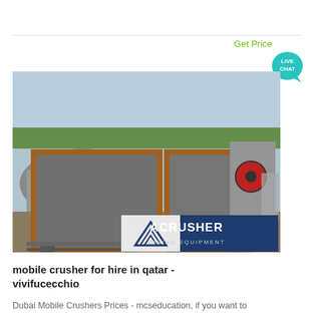Get Price
[Figure (illustration): Live Chat speech bubble icon in teal/cyan color with text LIVE CHAT in white]
[Figure (photo): Photograph of a mobile crusher machine at a mining site, with trees in the background. An ACRUSHER MINING EQUIPMENT logo/banner is overlaid at the bottom right of the image.]
mobile crusher for hire in qatar - vivifucecchio
Dubai Mobile Crushers Prices - mcseducation, if you want to